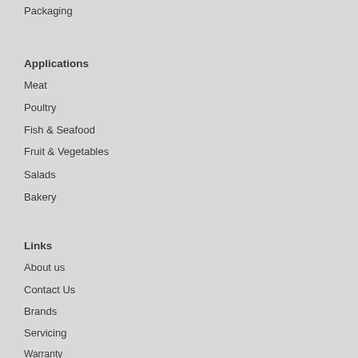Packaging
Applications
Meat
Poultry
Fish & Seafood
Fruit & Vegetables
Salads
Bakery
Links
About us
Contact Us
Brands
Servicing
Warranty
Machine Reconditioning